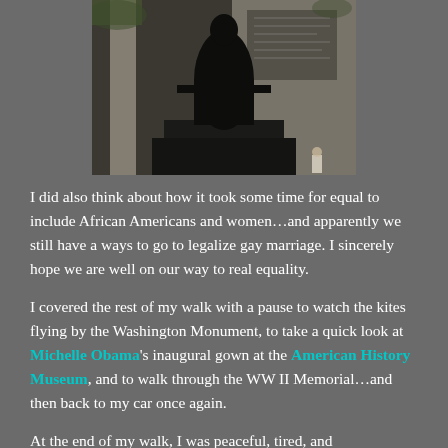[Figure (photo): Photo of a large dark statue/monument on a pedestal inside what appears to be the Jefferson Memorial, with a white marble column on the left, an inscription wall on the right, and a small figure of a person crouching near the base on the right side.]
I did also think about how it took some time for equal to include African Americans and women...and apparently we still have a ways to go to legalize gay marriage. I sincerely hope we are well on our way to real equality.
I covered the rest of my walk with a pause to watch the kites flying by the Washington Monument, to take a quick look at Michelle Obama's inaugural gown at the American History Museum, and to walk through the WW II Memorial...and then back to my car once again.
At the end of my walk, I was peaceful, tired, and